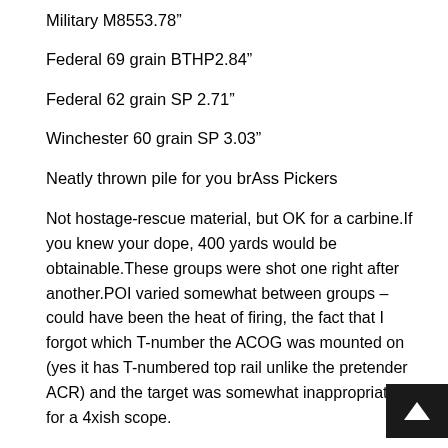Military M8553.78”
Federal 69 grain BTHP2.84”
Federal 62 grain SP 2.71”
Winchester 60 grain SP 3.03”
Neatly thrown pile for you brAss Pickers
Not hostage-rescue material, but OK for a carbine.If you knew your dope, 400 yards would be obtainable.These groups were shot one right after another.POI varied somewhat between groups – could have been the heat of firing, the fact that I forgot which T-number the ACOG was mounted on (yes it has T-numbered top rail unlike the pretender ACR) and the target was somewhat inappropriate for a 4xish scope.
Next up was our standard Operator Drill listed in the stan section of this site.I popped off the ACOG and used the p irons for this.They were very fast, and the carbine handled